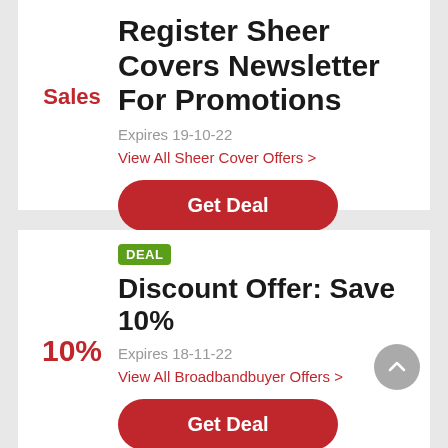Sales
Register Sheer Covers Newsletter For Promotions
Expires 19-10-22
View All Sheer Cover Offers >
Get Deal
DEAL
10%
Discount Offer: Save 10%
Expires 18-11-22
View All Broadbandbuyer Offers >
Get Deal